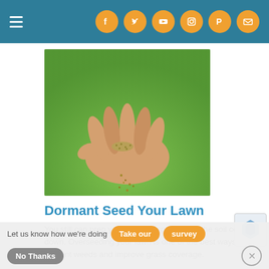Navigation header with hamburger menu and social icons: Facebook, Twitter, YouTube, Instagram, Pinterest, Email
[Figure (photo): A hand holding and letting fall grass seeds, with green lawn in the background]
Dormant Seed Your Lawn
You still can prep your lawn for spring once the soil cools down. Overseeding your lawn is one of the best ways to prevent weeds and improve grass coverage.
View Project
[Figure (photo): Partial image of hands (second article), cropped at bottom of page]
Let us know how we're doing   Take our survey   No Thanks